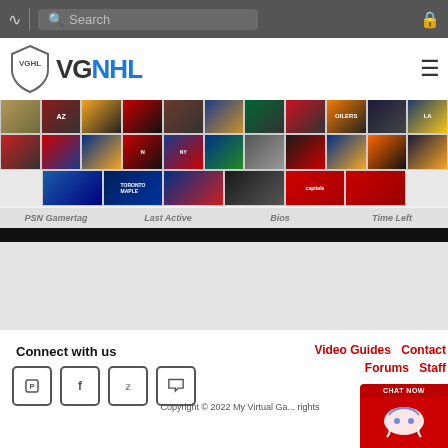VGNHL website navigation bar with search
[Figure (logo): VGNHL logo with shield icon and blue NHL text]
[Figure (other): NHL team logo grid rows showing various team logos]
| PSN Gamertag | Last Active | Bios | Time Left |
| --- | --- | --- | --- |
Connect with us
Video Guides  Contact  Forums  Staff
Copyright © 2022 My Virtual Ga... rights reserved.